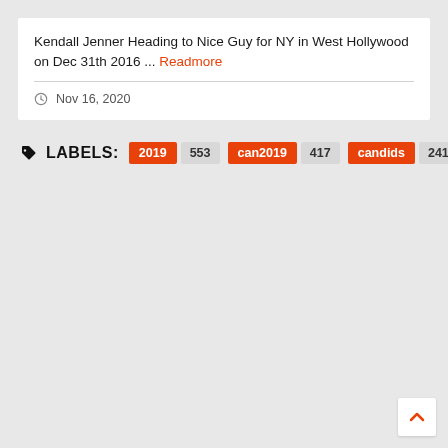Kendall Jenner Heading to Nice Guy for NY in West Hollywood on Dec 31th 2016 ... Readmore
Nov 16, 2020
LABELS: 2019 553 can2019 417 candids 2416